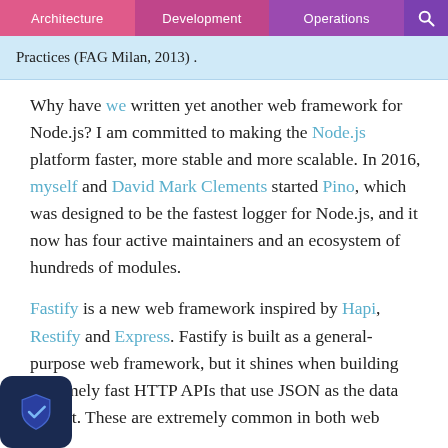Architecture | Development | Operations
Practices (FAG Milan, 2013) .
Why have we written yet another web framework for Node.js? I am committed to making the Node.js platform faster, more stable and more scalable. In 2016, myself and David Mark Clements started Pino, which was designed to be the fastest logger for Node.js, and it now has four active maintainers and an ecosystem of hundreds of modules.
Fastify is a new web framework inspired by Hapi, Restify and Express. Fastify is built as a general-purpose web framework, but it shines when building extremely fast HTTP APIs that use JSON as the data format. These are extremely common in both web